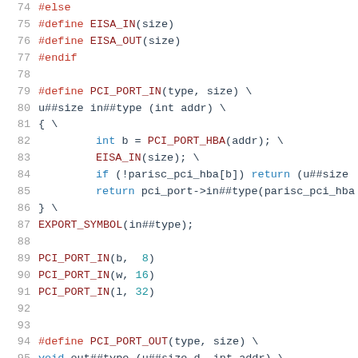[Figure (screenshot): Source code listing in C showing preprocessor macros for EISA and PCI port I/O operations, lines 74-95, with syntax highlighting: line numbers in grey, preprocessor directives in red, keywords in blue, macro/function names in dark red, identifiers in dark teal, numeric arguments in teal.]